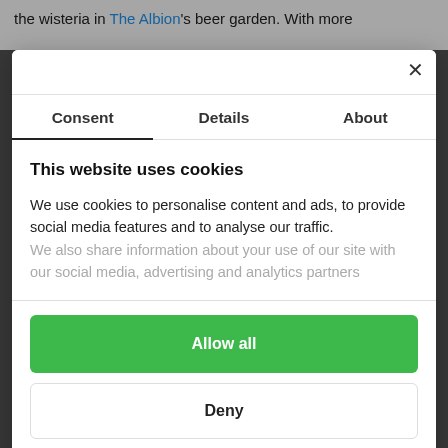the wisteria in The Albion's beer garden. With more
×
Consent	Details	About
This website uses cookies
We use cookies to personalise content and ads, to provide social media features and to analyse our traffic. We also share information about your use of our site with our social media, advertising and analytics partners
Allow all
Deny